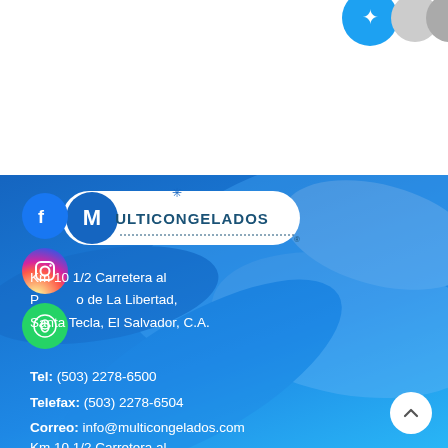[Figure (logo): Social media icons at top (Twitter/blue, gray circles) on white background]
[Figure (logo): Multicongelados logo with Facebook, Instagram, WhatsApp social icons on blue frozen food background]
Km 10 1/2 Carretera al Puerto de La Libertad, Santa Tecla, El Salvador, C.A.
Tel: (503) 2278-6500
Telefax: (503) 2278-6504
Correo: info@multicongelados.com